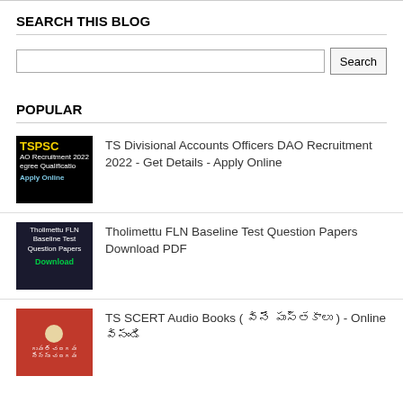SEARCH THIS BLOG
Search
POPULAR
TS Divisional Accounts Officers DAO Recruitment 2022 - Get Details - Apply Online
[Figure (thumbnail): TSPSC DAO Recruitment 2022 thumbnail with yellow TSPSC text on black background]
Tholimettu FLN Baseline Test Question Papers Download PDF
[Figure (thumbnail): Tholimettu FLN Baseline Test Question Papers Download thumbnail on dark background]
TS SCERT Audio Books ( వినే పుస్తకాలు ) - Online వినండి
[Figure (thumbnail): TS SCERT Audio Books thumbnail with red background]